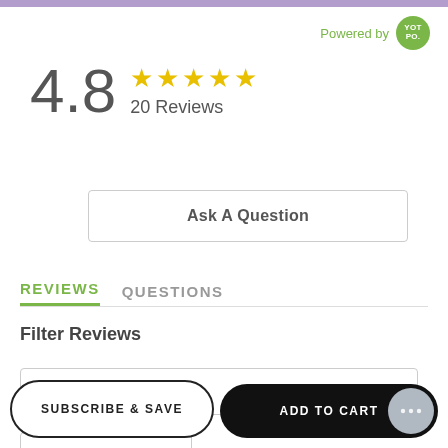Powered by YOTPO
4.8 ★★★★★ 20 Reviews
Ask A Question
REVIEWS   QUESTIONS
Filter Reviews
Search Reviews
SUBSCRIBE & SAVE
ADD TO CART